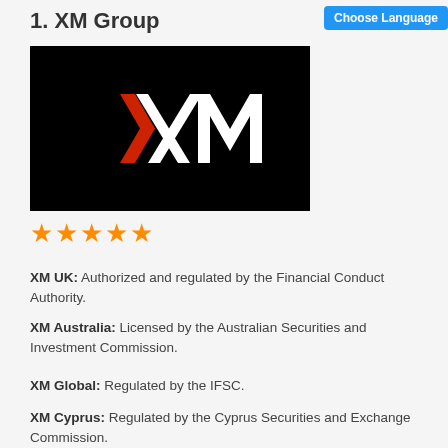1. XM Group
[Figure (logo): XM Group logo — white XM letters with red arrow on black background]
★★★★★
XM UK: Authorized and regulated by the Financial Conduct Authority.
XM Australia: Licensed by the Australian Securities and Investment Commission.
XM Global: Regulated by the IFSC.
XM Cyprus: Regulated by the Cyprus Securities and Exchange Commission.